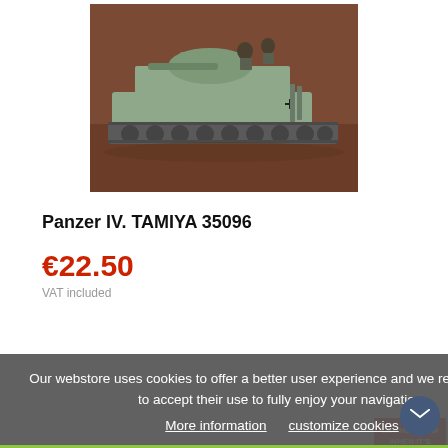[Figure (photo): Scale model tank Panzer IV, grey-green military tank model with two figures, on a brown background.]
Panzer IV. TAMIYA 35096
€22.50
VAT included
Our webstore uses cookies to offer a better user experience and we recommend you to accept their use to fully enjoy your navigation.
More information   customize cookies
I ACCEPT